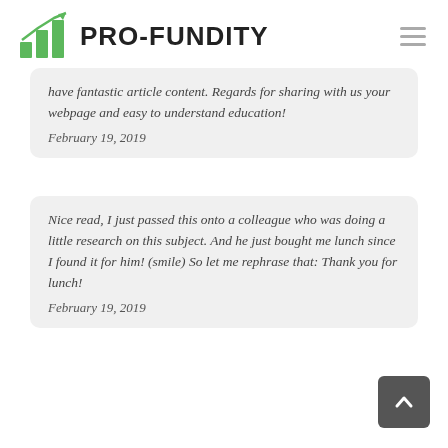PRO-FUNDITY
have fantastic article content. Regards for sharing with us your webpage and easy to understand education!
February 19, 2019
Nice read, I just passed this onto a colleague who was doing a little research on this subject. And he just bought me lunch since I found it for him! (smile) So let me rephrase that: Thank you for lunch!
February 19, 2019